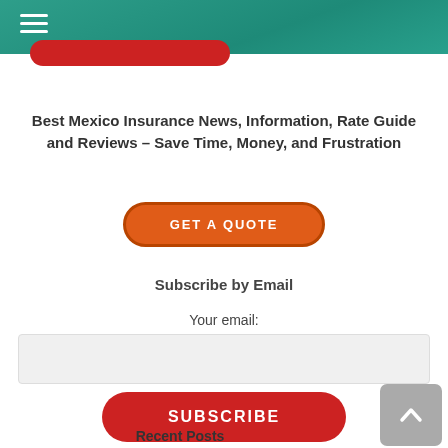[Figure (other): Red rounded button partially visible at top of page, cropped]
Best Mexico Insurance News, Information, Rate Guide and Reviews – Save Time, Money, and Frustration
[Figure (other): Orange GET A QUOTE button with rounded corners and dark orange border]
Subscribe by Email
Your email:
[Figure (other): Light grey email input field]
[Figure (other): Red SUBSCRIBE button with rounded corners]
[Figure (other): Grey back-to-top button with upward chevron arrow]
Recent Posts